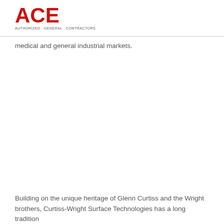ACE
medical and general industrial markets.
Building on the unique heritage of Glenn Curtiss and the Wright brothers, Curtiss-Wright Surface Technologies has a long tradition